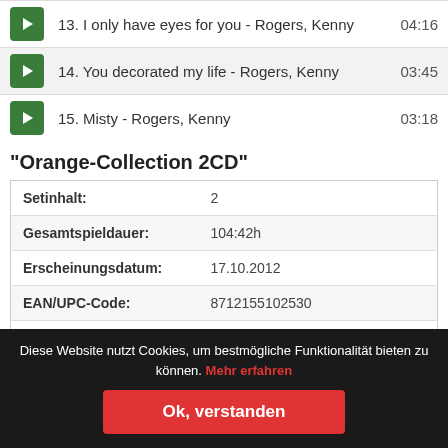13. I only have eyes for you - Rogers, Kenny  04:16
14. You decorated my life - Rogers, Kenny  03:45
15. Misty - Rogers, Kenny  03:18
"Orange-Collection 2CD"
|  |  |
| --- | --- |
| Setinhalt: | 2 |
| Gesamtspieldauer: | 104:42h |
| Erscheinungsdatum: | 17.10.2012 |
| EAN/UPC-Code: | 8712155102530 |
| Medium: | CD |
| Hersteller: | Weton-Wesgram |
| Interpret: | Rogers,Kenny |
Diese Website nutzt Cookies, um bestmögliche Funktionalität bieten zu können. Mehr erfahren
Ok, verstanden